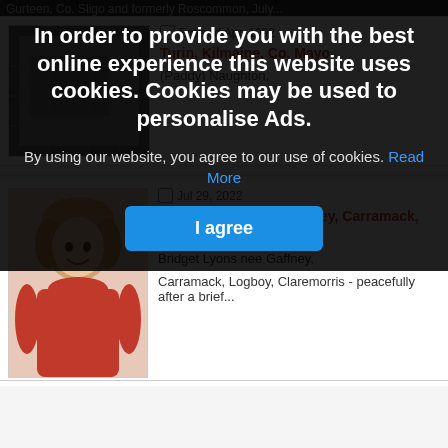[Figure (screenshot): Cookie consent overlay on a website showing obituary listings. Overlay text: 'In order to provide you with the best online experience this website uses cookies. Cookies may be used to personalise Ads.' with a 'Read More' link and 'I agree' button.]
In order to provide you with the best online experience this website uses cookies. Cookies may be used to personalise Ads.
By using our website, you agree to our use of cookies. Read More
I agree
Turin, Kilmaine, Co. Mayo - peacefully, in the care of the...
Jul 29, 2022
Bridget Lyons nee Gaffney, Carramack, Logboy, Claremorris
Bridget Lyons nee Gaffney,
Carramack, Logboy, Claremorris - peacefully after a brief...